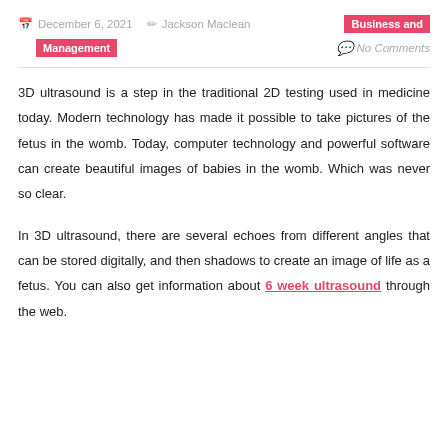December 6, 2021   Jackson Maclean   Business and Management   No Comments
3D ultrasound is a step in the traditional 2D testing used in medicine today. Modern technology has made it possible to take pictures of the fetus in the womb. Today, computer technology and powerful software can create beautiful images of babies in the womb. Which was never so clear.
In 3D ultrasound, there are several echoes from different angles that can be stored digitally, and then shadows to create an image of life as a fetus. You can also get information about 6 week ultrasound through the web.